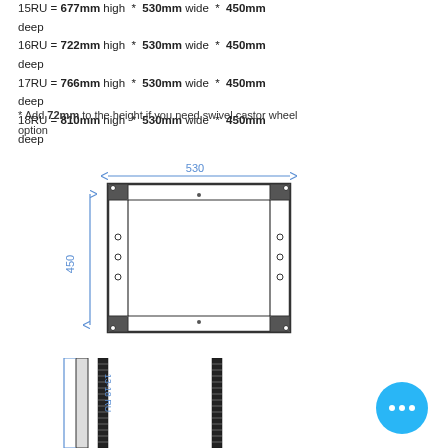15RU = 677mm high * 530mm wide * 450mm deep
16RU = 722mm high * 530mm wide * 450mm deep
17RU = 766mm high * 530mm wide * 450mm deep
18RU = 810mm high * 530mm wide * 450mm deep
* Add 72mm to the height if you need swivel castor wheel option
[Figure (engineering-diagram): Top-down view of rack enclosure showing width dimension of 530mm and depth dimension of 450mm with corner brackets and mounting rails]
[Figure (engineering-diagram): Front/side view of rack enclosure labeled 13-18 RU showing vertical mounting rails with rack unit markings]